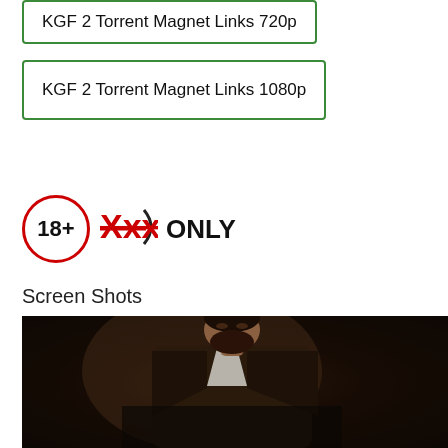KGF 2 Torrent Magnet Links 720p
KGF 2 Torrent Magnet Links 1080p
[Figure (logo): 18+ XXX ONLY adult content logo with red circle containing 18+ and strikethrough XXX text with arc bracket]
Screen Shots
[Figure (photo): Screenshot from KGF 2 movie showing a bearded man in a dark brown suit leaning forward in a dimly lit scene]